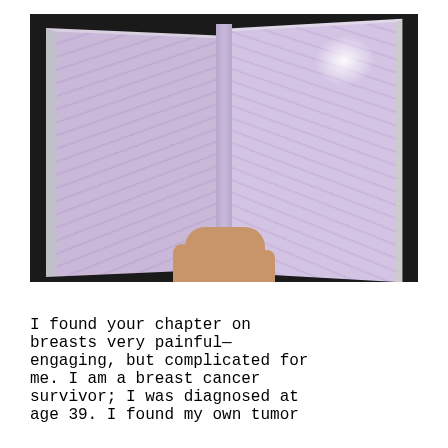[Figure (photo): A hand holding open a book with purple/lavender patterned end pages, photographed against a dark background.]
I found your chapter on breasts very painful—engaging, but complicated for me. I am a breast cancer survivor; I was diagnosed at age 39. I found my own tumor